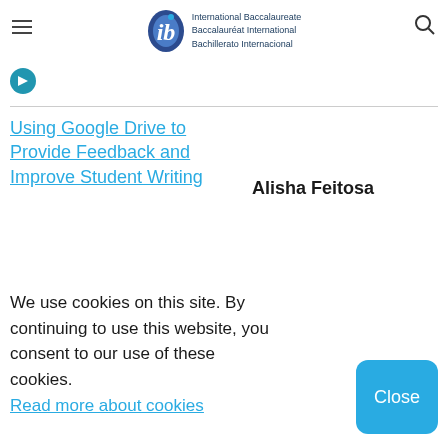International Baccalaureate Baccalauréat International Bachillerato Internacional
Using Google Drive to Provide Feedback and Improve Student Writing
Alisha Feitosa
We use cookies on this site. By continuing to use this website, you consent to our use of these cookies.
Read more about cookies